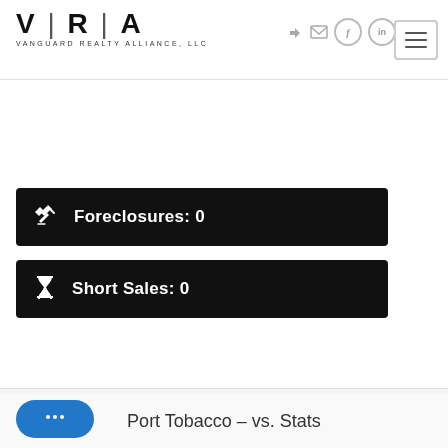[Figure (logo): VRA - Vanguard Realty Alliance, LLC logo with stylized V|R|A lettering]
Foreclosures: 0
Short Sales: 0
Port Tobacco - vs. Stats